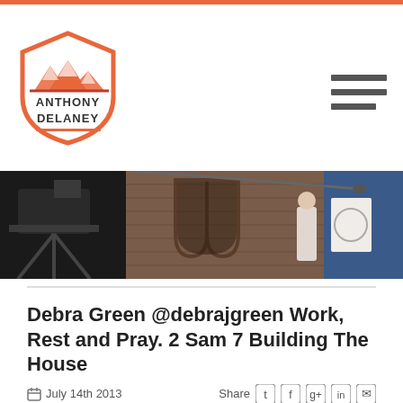[Figure (logo): Anthony Delaney logo: shield shape with orange mountain peaks at top, text ANTHONY DELANEY inside]
[Figure (photo): A speaker standing at a whiteboard on a TV studio stage with brick arch backdrop and camera equipment in the foreground]
Debra Green @debrajgreen Work, Rest and Pray. 2 Sam 7 Building The House
July 14th 2013
Share
David was the second king of Israel his reign – 1010 to 1002 BC A righteous king, but not perfect.
2 Sam 7:1-16